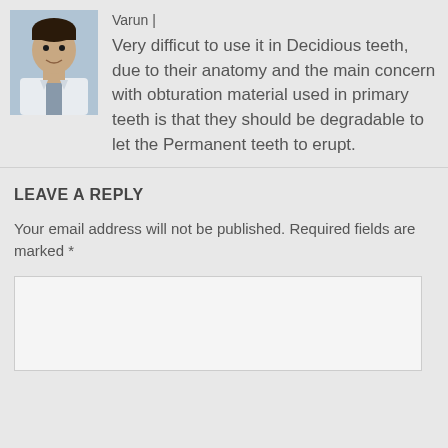[Figure (photo): Avatar photo of a man in a white coat, doctor]
Varun |
Very difficut to use it in Decidious teeth, due to their anatomy and the main concern with obturation material used in primary teeth is that they should be degradable to let the Permanent teeth to erupt.
LEAVE A REPLY
Your email address will not be published. Required fields are marked *